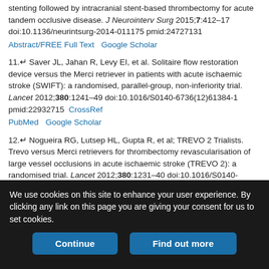stenting followed by intracranial stent-based thrombectomy for acute tandem occlusive disease. J Neurointerv Surg 2015;7:412–17 doi:10.1136/neurintsurg-2014-011175 pmid:24727131 Abstract/FREE Full Text   Google Scholar
11.↵ Saver JL, Jahan R, Levy EI, et al. Solitaire flow restoration device versus the Merci retriever in patients with acute ischaemic stroke (SWIFT): a randomised, parallel-group, non-inferiority trial. Lancet 2012;380:1241–49 doi:10.1016/S0140-6736(12)61384-1 pmid:22932715  CrossRef  PubMed  Google Scholar
12.↵ Nogueira RG, Lutsep HL, Gupta R, et al; TREVO 2 Trialists. Trevo versus Merci retrievers for thrombectomy revascularisation of large vessel occlusions in acute ischaemic stroke (TREVO 2): a randomised trial. Lancet 2012;380:1231–40 doi:10.1016/S0140-6736(12)61299-9 pmid:22932714  CrossRef  PubMed  Google Scholar
We use cookies on this site to enhance your user experience. By clicking any link on this page you are giving your consent for us to set cookies.